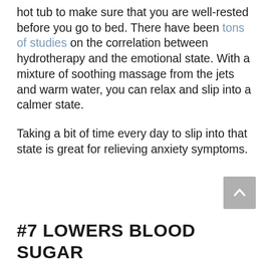hot tub to make sure that you are well-rested before you go to bed. There have been tons of studies on the correlation between hydrotherapy and the emotional state. With a mixture of soothing massage from the jets and warm water, you can relax and slip into a calmer state.
Taking a bit of time every day to slip into that state is great for relieving anxiety symptoms.
#7 LOWERS BLOOD SUGAR